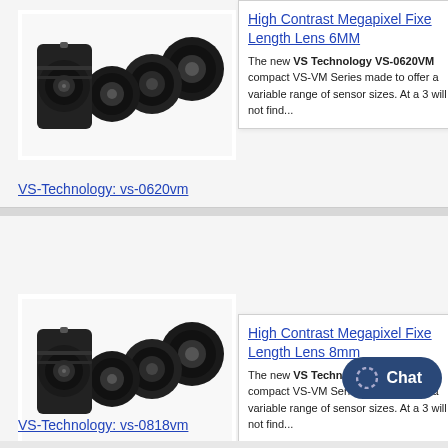[Figure (photo): Multiple black camera lenses arranged on white background for VS-Technology vs-0620vm]
High Contrast Megapixel Fixed Length Lens 6MM
The new VS Technology VS-0620VM compact VS-VM Series made to offer a variable range of sensor sizes. At a 3 will not find...
VS-Technology: vs-0620vm
[Figure (photo): Multiple black camera lenses arranged on white background for VS-Technology vs-0818vm]
High Contrast Megapixel Fixed Length Lens 8mm
The new VS Technology VS-0818VM compact VS-VM Series made to offer a variable range of sensor sizes. At a 3 will not find...
VS-Technology: vs-0818vm